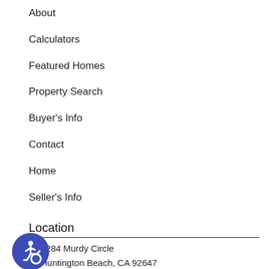About
Calculators
Featured Homes
Property Search
Buyer's Info
Contact
Home
Seller's Info
Location
7284 Murdy Circle
Huntington Beach, CA 92647
[Figure (illustration): Blue circular accessibility/wheelchair icon button in the bottom-left corner]